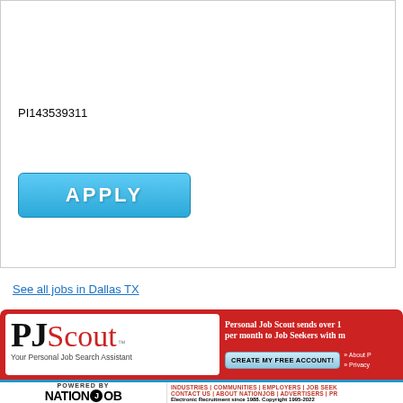PI143539311
[Figure (other): APPLY button (blue rounded rectangle with white bold text)]
See all jobs in Dallas TX
[Figure (logo): PJScout banner with red background, white card showing PJ Scout logo and tagline 'Your Personal Job Search Assistant', text about Personal Job Scout sending over 1 million per month to Job Seekers, CREATE MY FREE ACCOUNT button, and links to About PJ and Privacy]
[Figure (logo): NationJob footer area with POWERED BY text, NationJob logo, navigation links (INDUSTRIES, COMMUNITIES, EMPLOYERS, JOB SEEKERS, CONTACT US, ABOUT NATIONJOB, ADVERTISERS, PR), and copyright notice 'Electronic Recruitment since 1988. Copyright 1995-2022']